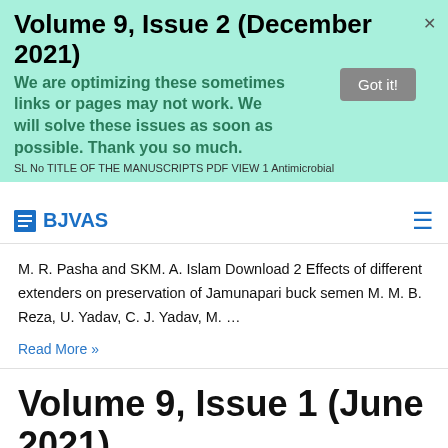Volume 9, Issue 2 (December 2021)
We are optimizing these sometimes links or pages may not work. We will solve these issues as soon as possible. Thank you so much.
SL No TITLE OF THE MANUSCRIPTS PDF VIEW 1 Antimicrobial
BJVAS
M. R. Pasha and SKM. A. Islam Download 2 Effects of different extenders on preservation of Jamunapari buck semen M. M. B. Reza, U. Yadav, C. J. Yadav, M. …
Read More »
Volume 9, Issue 1 (June 2021)
SL No TITLE OF THE MANUSCRIPTS PDF VIEW 1 Effects of